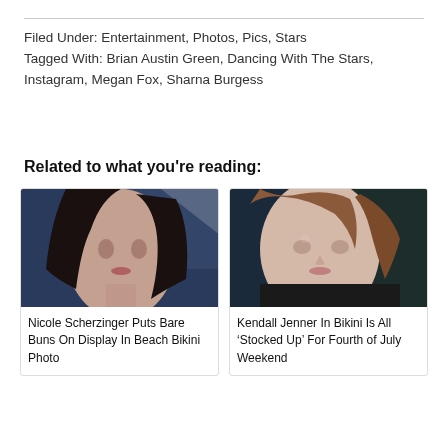Filed Under: Entertainment, Photos, Pics, Stars
Tagged With: Brian Austin Green, Dancing With The Stars, Instagram, Megan Fox, Sharna Burgess
Related to what you're reading:
[Figure (photo): Photo of Nicole Scherzinger, a woman with long dark hair against a dark blue background]
Nicole Scherzinger Puts Bare Buns On Display In Beach Bikini Photo
[Figure (photo): Photo of Kendall Jenner, a woman with brown hair pulled back, against a dark background]
Kendall Jenner In Bikini Is All ‘Stocked Up’ For Fourth of July Weekend